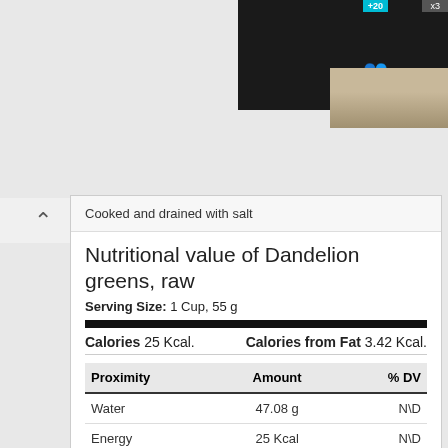[Figure (screenshot): Dark overlay UI panel with 'Hold and Move' label and blue/gray badges at top right]
Cooked and drained with salt
Nutritional value of Dandelion greens, raw
Serving Size: 1 Cup, 55 g
Calories 25 Kcal.   Calories from Fat 3.42 Kcal.
| Proximity | Amount | % DV |
| --- | --- | --- |
| Water | 47.08 g | N\D |
| Energy | 25 Kcal | N\D |
| Energy | 103 kJ | N\D |
| Protein | 1.48 g | 2.96% |